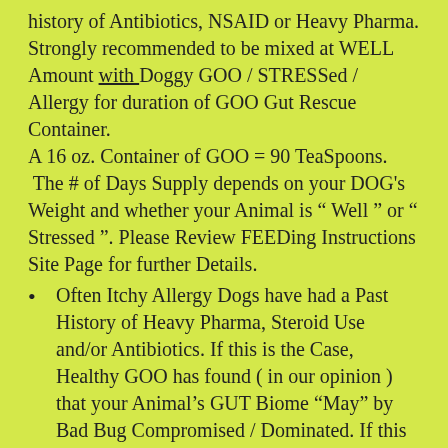history of Antibiotics, NSAID or Heavy Pharma. Strongly recommended to be mixed at WELL Amount with Doggy GOO / STRESSed / Allergy for duration of GOO Gut Rescue Container. A 16 oz. Container of GOO = 90 TeaSpoons. The # of Days Supply depends on your DOG's Weight and whether your Animal is " Well " or " Stressed ". Please Review FEEDing Instructions Site Page for further Details.
Often Itchy Allergy Dogs have had a Past History of Heavy Pharma, Steroid Use and/or Antibiotics. If this is the Case, Healthy GOO has found ( in our opinion ) that your Animal's GUT Biome "May" by Bad Bug Compromised / Dominated. If this Occurs, not only does this condition compromise Daily Food BreakDown / Absorption, but ( in Healthy GOO's Opinion ) an Out of Balance GUT-Biome can appreciably Impede the Progress of Doggy GOO's Enviro Allergy Fight. "If " You feel